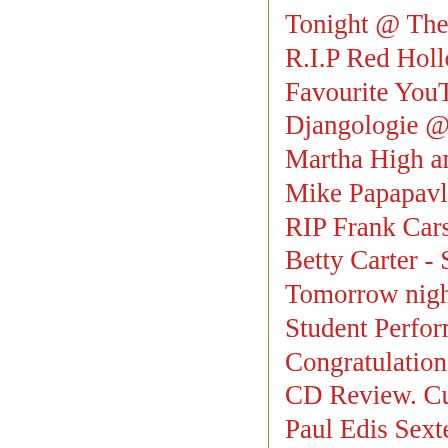Tonight @ The Bridg…
R.I.P Red Holloway
Favourite YouTube C…
Djangologie @ The …
Martha High and Spe…
Mike Papapavlou & …
RIP Frank Carson
Betty Carter - Social…
Tomorrow night - Su…
Student Performance…
Congratulations to Jo…
CD Review. Curtis S…
Paul Edis Sextet CD…
Peter Papprill Funera…